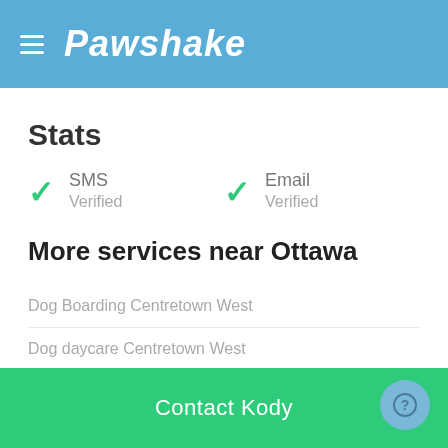Pawshake
Stats
SMS Verified
Email Verified
More services near Ottawa
Dog Boarding Centretown West
Dog daycare Centretown West
Contact Kody